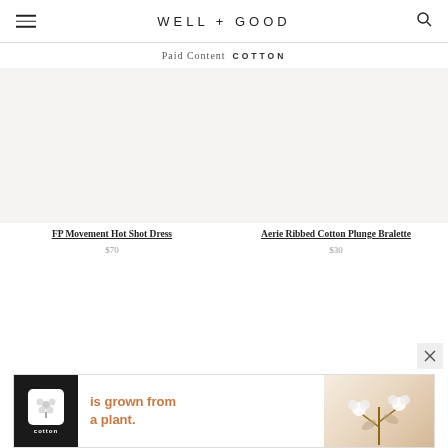WELL + GOOD
Paid Content COTTON
[Figure (photo): Product image placeholder for FP Movement Hot Shot Dress (white/light background)]
FP Movement Hot Shot Dress
$70
[Figure (photo): Product image placeholder for Aerie Ribbed Cotton Plunge Bralette (white/light background)]
Aerie Ribbed Cotton Plunge Bralette
$30
[Figure (photo): Cotton advertisement banner: 'is grown from a plant.' with cotton logo and cotton plant photo]